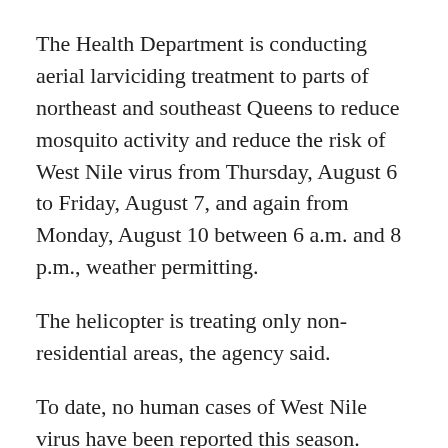The Health Department is conducting aerial larviciding treatment to parts of northeast and southeast Queens to reduce mosquito activity and reduce the risk of West Nile virus from Thursday, August 6 to Friday, August 7, and again from Monday, August 10 between 6 a.m. and 8 p.m., weather permitting.
The helicopter is treating only non-residential areas, the agency said.
To date, no human cases of West Nile virus have been reported this season.
Still, during the summer months, mosquitos can breed in any still water that has been standing for more than five days.
With hot and wet weather conditions, the targeted areas can be home to a rise in